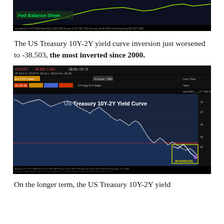[Figure (continuous-plot): Partial/clipped Bloomberg terminal chart showing Fed Balance Sheet line chart with green label 'Fed Balance Sheet' visible at top left]
The US Treasury 10Y-2Y yield curve inversion just worsened to -38.503, the most inverted since 2000.
[Figure (continuous-plot): Bloomberg terminal screenshot showing US Treasury 10Y-2Y Yield Curve line chart. Header shows USYC2Y -38.503 -1.041 -38.50 /-37.73 and AT 10:1 O -37.57 H -36.16 L -39.61 Pre -36.55. The chart shows the yield curve declining sharply in recent period with a red zero line and a yellow box labeled 'INVERSION' at the bottom right showing the current reading below zero. Chart title: US Treasury 10Y-2Y Yield Curve.]
On the longer term, the US Treasury 10Y-2Y yield...